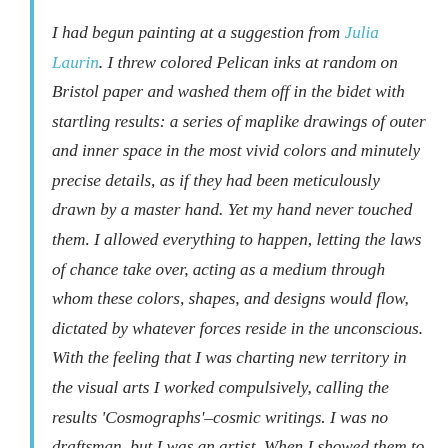I had begun painting at a suggestion from Julia Laurin. I threw colored Pelican inks at random on Bristol paper and washed them off in the bidet with startling results: a series of maplike drawings of outer and inner space in the most vivid colors and minutely precise details, as if they had been meticulously drawn by a master hand. Yet my hand never touched them. I allowed everything to happen, letting the laws of chance take over, acting as a medium through whom these colors, shapes, and designs would flow, dictated by whatever forces reside in the unconscious. With the feeling that I was charting new territory in the visual arts I worked compulsively, calling the results 'Cosmographs'–cosmic writings. I was no draftsman, but I was an artist. When I showed them to